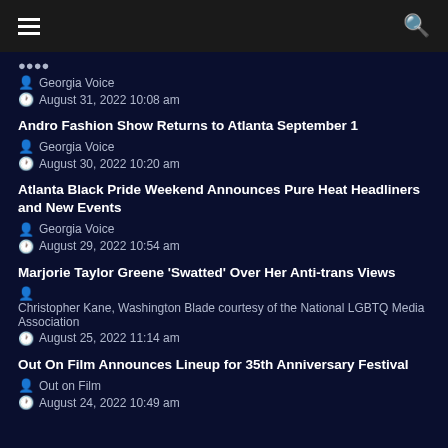[hamburger menu] [search icon]
Georgia Voice | August 31, 2022 10:08 am
Andro Fashion Show Returns to Atlanta September 1
Georgia Voice | August 30, 2022 10:20 am
Atlanta Black Pride Weekend Announces Pure Heat Headliners and New Events
Georgia Voice | August 29, 2022 10:54 am
Marjorie Taylor Greene 'Swatted' Over Her Anti-trans Views
Christopher Kane, Washington Blade courtesy of the National LGBTQ Media Association | August 25, 2022 11:14 am
Out On Film Announces Lineup for 35th Anniversary Festival
Out on Film | August 24, 2022 10:49 am